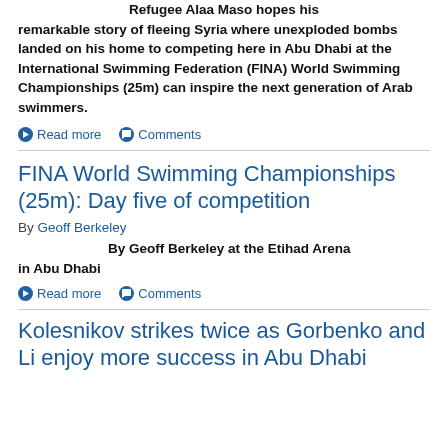Refugee Alaa Maso hopes his remarkable story of fleeing Syria where unexploded bombs landed on his home to competing here in Abu Dhabi at the International Swimming Federation (FINA) World Swimming Championships (25m) can inspire the next generation of Arab swimmers.
Read more  Comments
FINA World Swimming Championships (25m): Day five of competition
By Geoff Berkeley
By Geoff Berkeley at the Etihad Arena in Abu Dhabi
Read more  Comments
Kolesnikov strikes twice as Gorbenko and Li enjoy more success in Abu Dhabi